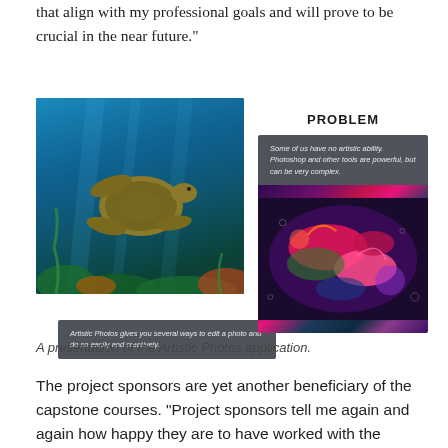that align with my professional goals and will prove to be crucial in the near future."
[Figure (photo): Underwater photo of a sea turtle swimming above coral reef with blue water background]
PROBLEM
Some of us have no artistic ability. Photoshop and other tools are powerful, but can be very complex.
[Figure (photo): Colorful psychedelic/artistic photo of fish with pink, red, green and purple hues]
Artistic Photos gives you several ways to edit a photo and do so easily and creatively.
A presentation of the Artistic Photos application.
The project sponsors are yet another beneficiary of the capstone courses. "Project sponsors tell me again and again how happy they are to have worked with the students," says Bietz. "Some sponsors come from